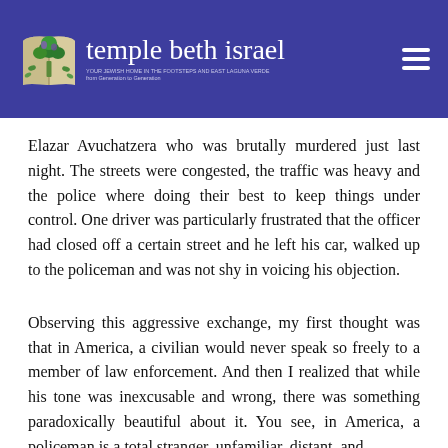[Figure (logo): Temple Beth Israel logo: stylized open book with a tree, and cursive text 'temple beth israel' with subtitle 'YOUR JEWISH HOME IN THE FOOTSTEPS AND EAST LAGUNA VERDE from Generation to Generation']
Elazar Avuchatzera who was brutally murdered just last night. The streets were congested, the traffic was heavy and the police where doing their best to keep things under control. One driver was particularly frustrated that the officer had closed off a certain street and he left his car, walked up to the policeman and was not shy in voicing his objection.
Observing this aggressive exchange, my first thought was that in America, a civilian would never speak so freely to a member of law enforcement. And then I realized that while his tone was inexcusable and wrong, there was something paradoxically beautiful about it. You see, in America, a policeman is a total stranger, unfamiliar, distant, and